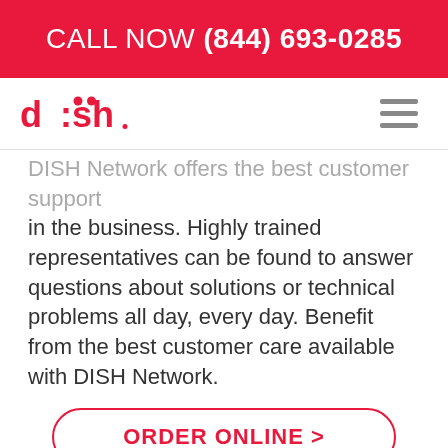CALL NOW (844) 693-0285
[Figure (logo): DISH Network logo in red]
DISH Network offers the best customer support in the business. Highly trained representatives can be found to answer questions about solutions or technical problems all day, every day. Benefit from the best customer care available with DISH Network.
ORDER ONLINE >
Order Online   ✓ Call Now